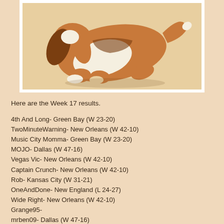[Figure (illustration): A dog (appears to be a Beagle or Jack Russell terrier) lying down or rolling, shown from behind/side angle, illustrated style with brown and white coloring on a light beige background, framed with a white border.]
Here are the Week 17 results.
4th And Long- Green Bay (W 23-20)
TwoMinuteWarning- New Orleans (W 42-10)
Music City Momma- Green Bay (W 23-20)
MOJO- Dallas (W 47-16)
Vegas Vic- New Orleans (W 42-10)
Captain Crunch- New Orleans (W 42-10)
Rob- Kansas City (W 31-21)
OneAndDone- New England (L 24-27)
Wide Right- New Orleans (W 42-10)
Grange95-
mrben09- Dallas (W 47-16)
Here are the current standings: